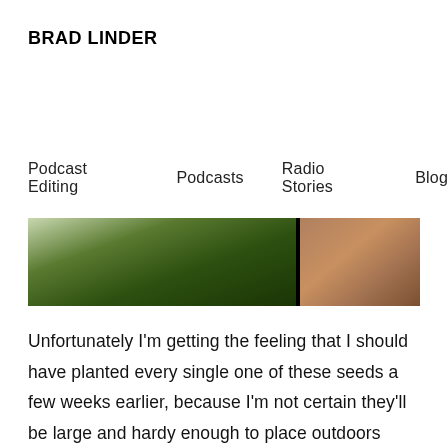BRAD LINDER
Podcast Editing   Podcasts   Radio Stories   Blog   About Me   Contact Me
[Figure (photo): Close-up photo of plant seedlings in green and terracotta pots, cropped to show just the top portion of the pots and the base of stems/leaves.]
Unfortunately I'm getting the feeling that I should have planted every single one of these seeds a few weeks earlier, because I'm not certain they'll be large and hardy enough to place outdoors when the weather is warm enough in May/June.